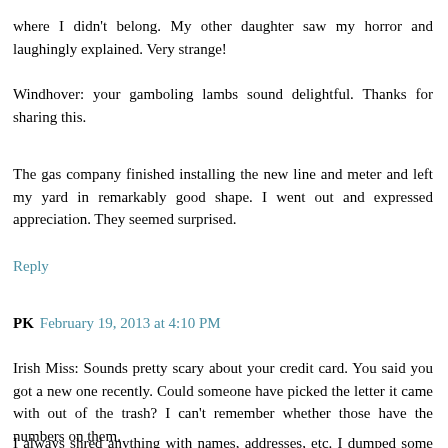where I didn't belong. My other daughter saw my horror and laughingly explained. Very strange!
Windhover: your gamboling lambs sound delightful. Thanks for sharing this.
The gas company finished installing the new line and meter and left my yard in remarkably good shape. I went out and expressed appreciation. They seemed surprised.
Reply
PK  February 19, 2013 at 4:10 PM
Irish Miss: Sounds pretty scary about your credit card. You said you got a new one recently. Could someone have picked the letter it came with out of the trash? I can't remember whether those have the numbers on them.
I always shred anything with names, addresses, etc. I dumped some junk mail at the post office trash can once which included credit card info and turned around to see a homeless guy going through the trash, sorting out some stuff.